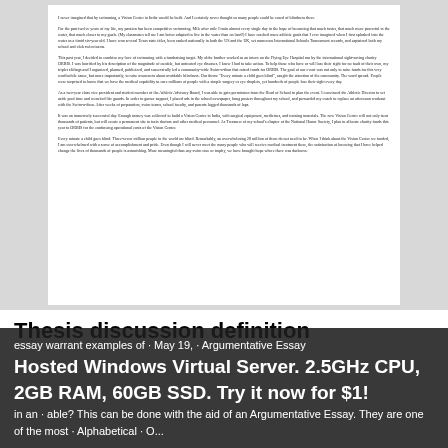[Figure (screenshot): Scanned document page showing an essay about swimming, fundraising for ORBIS charity, and a Vision Center in India. Multiple paragraphs of small text on white paper against gray background.]
Thesis discussion definition
essay warrant examples of · May 19, · Argumentative Essay Hosted Windows Virtual Server. 2.5GHz CPU, 2GB RAM, 60GB SSD. Try it now for $1! in an · able? This can be done with the aid of an Argumentative Essay. They are one of the most · Alphabetical · O...